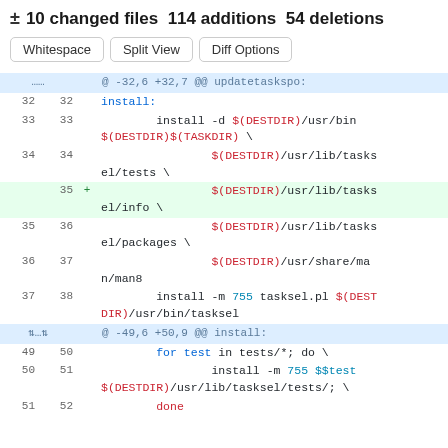± 10 changed files 114 additions 54 deletions
[Figure (screenshot): Git diff view showing code changes with line numbers, hunk headers, additions and unchanged lines in a Makefile install target]
Whitespace | Split View | Diff Options buttons